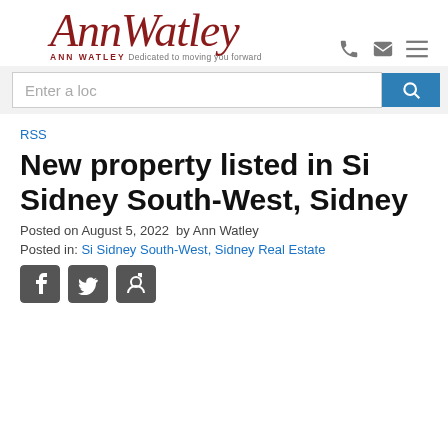Ann Watley — Dedicated to moving you forward
Enter a loc [search bar]
RSS
New property listed in Si Sidney South-West, Sidney
Posted on August 5, 2022  by Ann Watley
Posted in: Si Sidney South-West, Sidney Real Estate